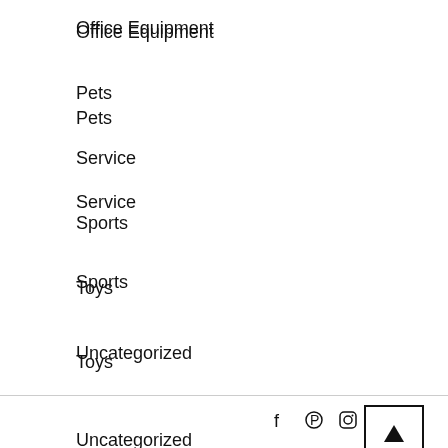Office Equipment
Pets
Service
Sports
Toys
Uncategorized
[Figure (other): Back to top button with upward arrow inside a square border]
[Figure (other): Social media icons: Facebook, Pinterest, Instagram]